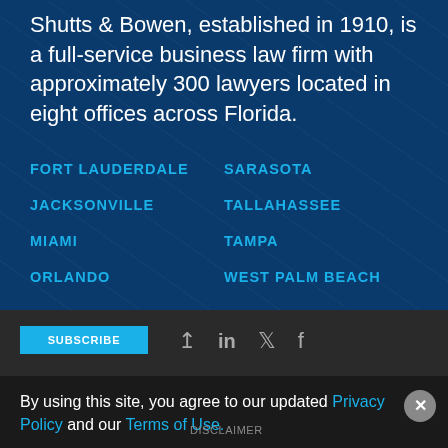Shutts & Bowen, established in 1910, is a full-service business law firm with approximately 300 lawyers located in eight offices across Florida.
FORT LAUDERDALE
SARASOTA
JACKSONVILLE
TALLAHASSEE
MIAMI
TAMPA
ORLANDO
WEST PALM BEACH
SUBSCRIBE
By using this site, you agree to our updated Privacy Policy and our Terms of Use.
DISCLAIMER